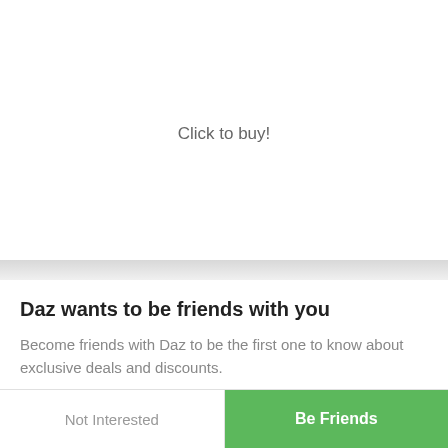Click to buy!
Daz wants to be friends with you
Become friends with Daz to be the first one to know about exclusive deals and discounts.
Not Interested
Be Friends